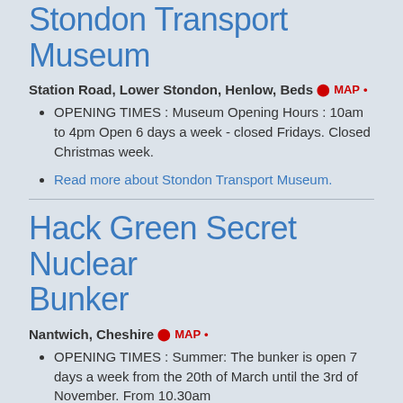Stondon Transport Museum
Station Road, Lower Stondon, Henlow, Beds ◈MAP◈
OPENING TIMES : Museum Opening Hours : 10am to 4pm Open 6 days a week - closed Fridays. Closed Christmas week.
Read more about Stondon Transport Museum.
Hack Green Secret Nuclear Bunker
Nantwich, Cheshire ◈MAP◈
OPENING TIMES : Summer: The bunker is open 7 days a week from the 20th of March until the 3rd of November. From 10.30am